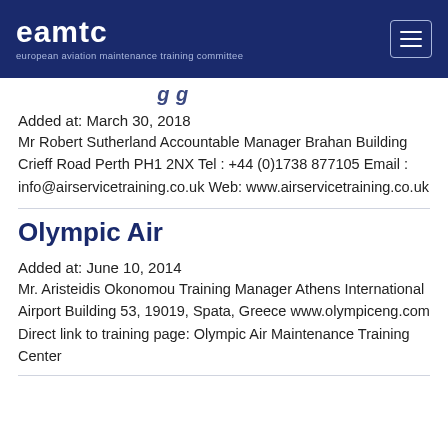eamtc european aviation maintenance training committee
Added at: March 30, 2018
Mr Robert Sutherland Accountable Manager Brahan Building Crieff Road Perth PH1 2NX Tel : +44 (0)1738 877105 Email : info@airservicetraining.co.uk Web: www.airservicetraining.co.uk
Olympic Air
Added at: June 10, 2014
Mr. Aristeidis Okonomou Training Manager Athens International Airport Building 53, 19019, Spata, Greece www.olympiceng.com Direct link to training page: Olympic Air Maintenance Training Center